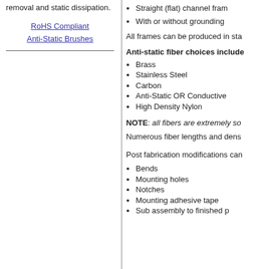removal and static dissipation.
RoHS Compliant
Anti-Static Brushes
Straight (flat) channel fram
With or without grounding
All frames can be produced in sta
Anti-static fiber choices include
Brass
Stainless Steel
Carbon
Anti-Static OR Conductive
High Density Nylon
NOTE: all fibers are extremely so
Numerous fiber lengths and dens
Post fabrication modifications can
Bends
Mounting holes
Notches
Mounting adhesive tape
Sub assembly to finished p